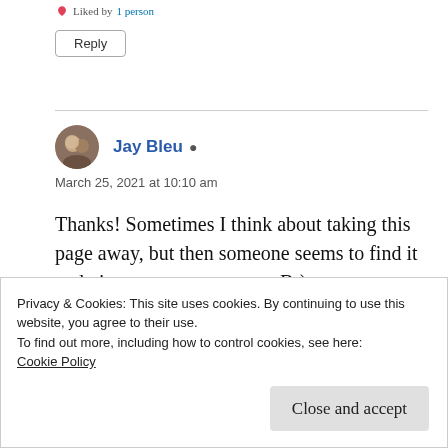Liked by 1 person
Reply
Jay Bleu
March 25, 2021 at 10:10 am
Thanks! Sometimes I think about taking this page away, but then someone seems to find it and give me a reason not to B-)
Privacy & Cookies: This site uses cookies. By continuing to use this website, you agree to their use.
To find out more, including how to control cookies, see here:
Cookie Policy
Close and accept